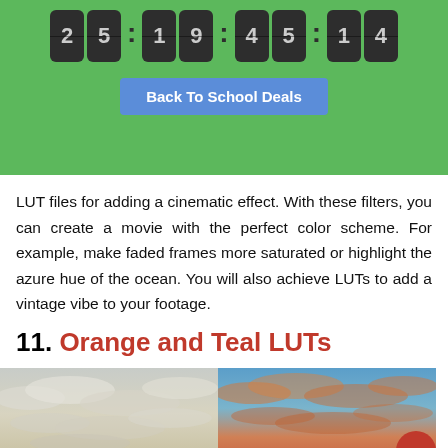[Figure (other): Green banner with a countdown timer showing 25:19:45:14 and a blue 'Back To School Deals' button]
LUT files for adding a cinematic effect. With these filters, you can create a movie with the perfect color scheme. For example, make faded frames more saturated or highlight the azure hue of the ocean. You will also achieve LUTs to add a vintage vibe to your footage.
11. Orange and Teal LUTs
[Figure (photo): Two side-by-side photos of sky with clouds: left is grey/white toned, right is orange and teal toned with warm sunset colors. A red scroll-to-top arrow button appears in the bottom right corner.]